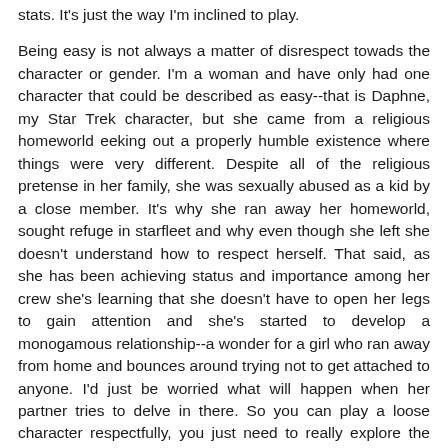stats. It's just the way I'm inclined to play.

Being easy is not always a matter of disrespect towads the character or gender. I'm a woman and have only had one character that could be described as easy--that is Daphne, my Star Trek character, but she came from a religious homeworld eeking out a properly humble existence where things were very different. Despite all of the religious pretense in her family, she was sexually abused as a kid by a close member. It's why she ran away her homeworld, sought refuge in starfleet and why even though she left she doesn't understand how to respect herself. That said, as she has been achieving status and importance among her crew she's learning that she doesn't have to open her legs to gain attention and she's started to develop a monogamous relationship--a wonder for a girl who ran away from home and bounces around trying not to get attached to anyone. I'd just be worried what will happen when her partner tries to delve in there. So you can play a loose character respectfully, you just need to really explore the WHY aspect. And if they go the route I did, it needs ot be played in other aspects too--like Daphne's fear of